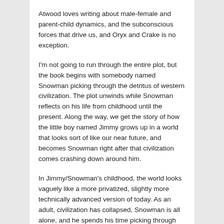Atwood loves writing about male-female and parent-child dynamics, and the subconscious forces that drive us, and Oryx and Crake is no exception.
I'm not going to run through the entire plot, but the book begins with somebody named Snowman picking through the detritus of western civilization. The plot unwinds while Snowman reflects on his life from childhood until the present. Along the way, we get the story of how the little boy named Jimmy grows up in a world that looks sort of like our near future, and becomes Snowman right after that civilization comes crashing down around him.
In Jimmy/Snowman's childhood, the world looks vaguely like a more privatized, slightly more technically advanced version of today. As an adult, civilization has collapsed, Snowman is all alone, and he spends his time picking through the wreckage looking for snacks.
I'd wager that at least half of the books on the shelves in the sci-fi section in any bookstore revolve around some